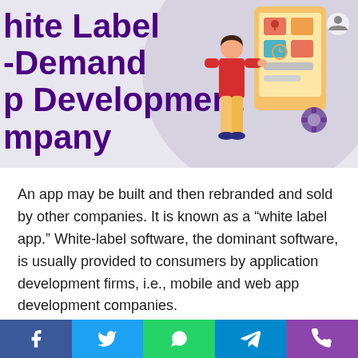White Label On-Demand App Development Company
[Figure (illustration): Illustrated figure of a person standing next to a large mobile phone/app screen with icons, gears, and UI elements in orange, red and gold tones]
An app may be built and then rebranded and sold by other companies. It is known as a “white label app.” White-label software, the dominant software, is usually provided to consumers by application development firms, i.e., mobile and web app development companies.
Social share buttons: Facebook, Twitter, WhatsApp, Telegram, Phone